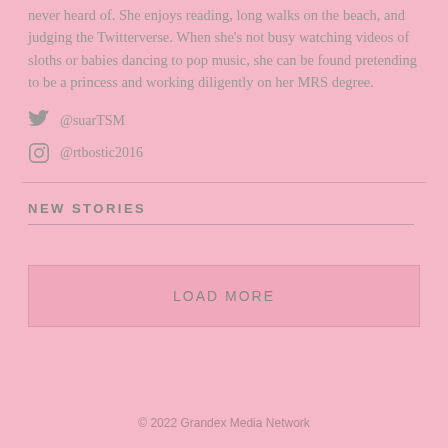never heard of. She enjoys reading, long walks on the beach, and judging the Twitterverse. When she's not busy watching videos of sloths or babies dancing to pop music, she can be found pretending to be a princess and working diligently on her MRS degree.
@suarTSM
@rtbostic2016
NEW STORIES
LOAD MORE
© 2022 Grandex Media Network